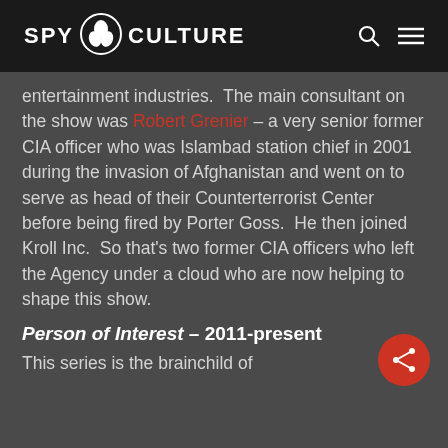SPY CULTURE
entertainment industries.  The main consultant on the show was Robert Grenier – a very senior former CIA officer who was Islambad station chief in 2001 during the invasion of Afghanistan and went on to serve as head of their Counterterrorist Center before being fired by Porter Goss.  He then joined Kroll Inc.  So that's two former CIA officers who left the Agency under a cloud who are now helping to shape this show.
Person of Interest – 2011-present
This series is the brainchild of